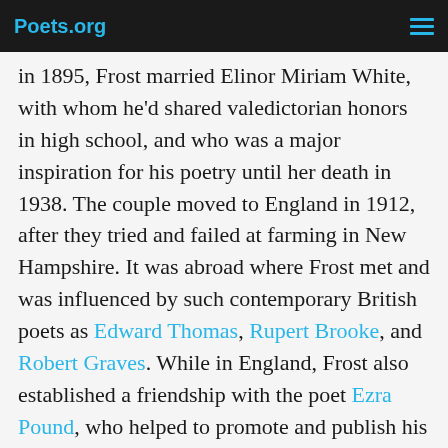Poets.org
in 1895, Frost married Elinor Miriam White, with whom he'd shared valedictorian honors in high school, and who was a major inspiration for his poetry until her death in 1938. The couple moved to England in 1912, after they tried and failed at farming in New Hampshire. It was abroad where Frost met and was influenced by such contemporary British poets as Edward Thomas, Rupert Brooke, and Robert Graves. While in England, Frost also established a friendship with the poet Ezra Pound, who helped to promote and publish his work.
By the time Frost returned to the United